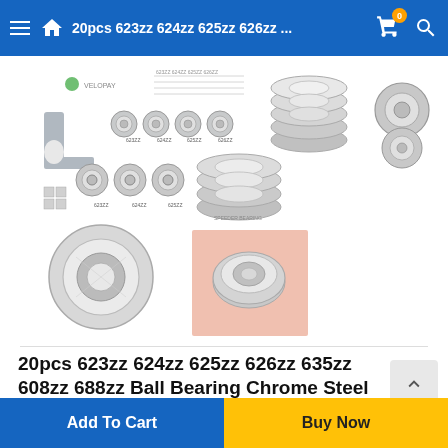20pcs 623zz 624zz 625zz 626zz ...
[Figure (photo): Product images showing 20pcs ball bearings set including 623zz 624zz 625zz 626zz 635zz 608zz 688zz chrome steel ball bearings and pulley wheels for 3D printer parts, displayed from multiple angles]
20pcs 623zz 624zz 625zz 626zz 635zz 608zz 688zz Ball Bearing Chrome Steel Ball Bearings 3D Printer Parts bearing Pulley Wheel